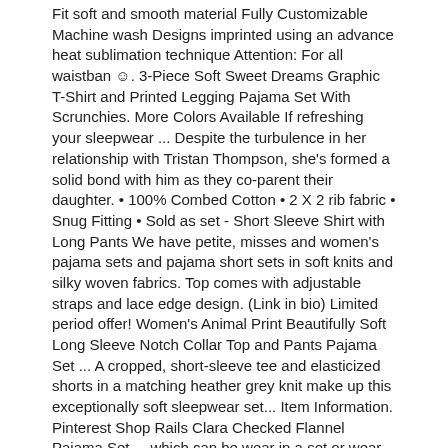Fit soft and smooth material Fully Customizable Machine wash Designs imprinted using an advance heat sublimation technique Attention: For all waistban ☺. 3-Piece Soft Sweet Dreams Graphic T-Shirt and Printed Legging Pajama Set With Scrunchies. More Colors Available If refreshing your sleepwear ... Despite the turbulence in her relationship with Tristan Thompson, she's formed a solid bond with him as they co-parent their daughter. • 100% Combed Cotton • 2 X 2 rib fabric • Snug Fitting • Sold as set - Short Sleeve Shirt with Long Pants We have petite, misses and women's pajama sets and pajama short sets in soft knits and silky woven fabrics. Top comes with adjustable straps and lace edge design. (Link in bio) Limited period offer! Women's Animal Print Beautifully Soft Long Sleeve Notch Collar Top and Pants Pajama Set ... A cropped, short-sleeve tee and elasticized shorts in a matching heather grey knit make up this exceptionally soft sleepwear set... Item Information. Pinterest Shop Rails Clara Checked Flannel Pajama Set ... which can be wear in a set or wear separately. 6 Sleep tight in this satin pajama set that can fully customized from top to bottom. Plain color V-neck sleepwear set which can be wear in a set or wear separately. Details include short sleeve button down collared top with left chest pocket and comfortable pants with an elastic waistband. XL. Choose from the best assortment of sleep gowns, robes, sleep shirts, and pj sets in pretty solids and charming prints from Dreams & Co sleepwear. prev next. prev next. And, you can rest easy knowing are fabrics are machine wash and dry. Welcome to Sweet Dreams! Plus Size Pajamas Sweet dreams of a good night's rest begin in our sleepwear shop. (Bottom) Waist 58 - 80cm, Hips 82cm, Length 30cm, (Bottom) Waist 62 - 84cm, Hips 104cm, Length 32cm, M, L/C, Cozy Pajama Set